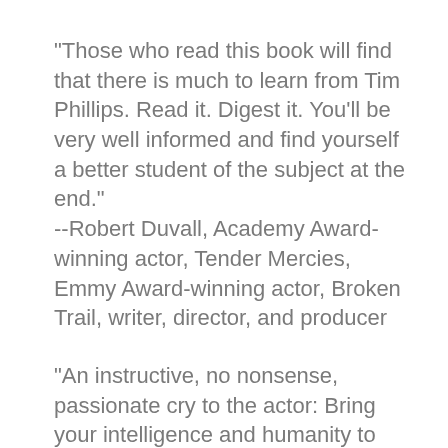"Those who read this book will find that there is much to learn from Tim Phillips. Read it. Digest it. You'll be very well informed and find yourself a better student of the subject at the end."
--Robert Duvall, Academy Award-winning actor, Tender Mercies, Emmy Award-winning actor, Broken Trail, writer, director, and producer
"An instructive, no nonsense, passionate cry to the actor: Bring your intelligence and humanity to